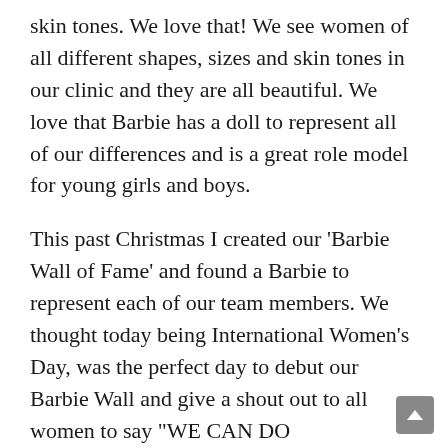skin tones. We love that! We see women of all different shapes, sizes and skin tones in our clinic and they are all beautiful. We love that Barbie has a doll to represent all of our differences and is a great role model for young girls and boys.
This past Christmas I created our 'Barbie Wall of Fame' and found a Barbie to represent each of our team members. We thought today being International Women's Day, was the perfect day to debut our Barbie Wall and give a shout out to all women to say "WE CAN DO ANYTHING!" We are a team of women that support each other and our clients. Our goal to make you look and feel your best is about helping everyone achieve the confidence to do anything they want.